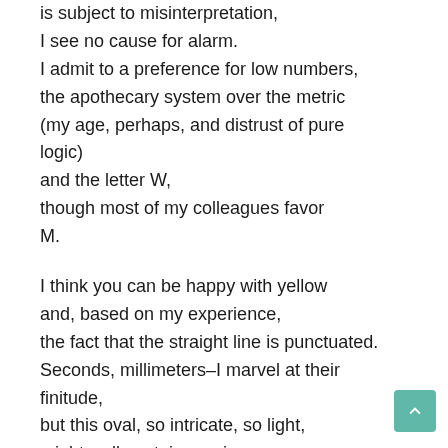is subject to misinterpretation,
I see no cause for alarm.
I admit to a preference for low numbers,
the apothecary system over the metric
(my age, perhaps, and distrust of pure logic)
and the letter W,
though most of my colleagues favor
M.

I think you can be happy with yellow
and, based on my experience,
the fact that the straight line is punctuated.
Seconds, millimeters–I marvel at their finitude,
but this oval, so intricate, so light,
might well contain a universe.
Is it normal, you ask.
Normal's a shell game you seldom win.
Take my advice. Enjoy good health
not as your due but the blessing it is